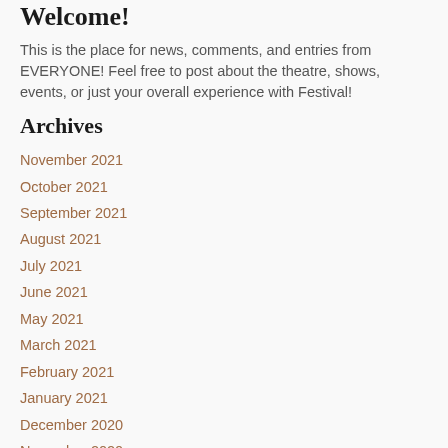Welcome!
This is the place for news, comments, and entries from EVERYONE!  Feel free to post about the theatre, shows, events, or just your overall experience with Festival!
Archives
November 2021
October 2021
September 2021
August 2021
July 2021
June 2021
May 2021
March 2021
February 2021
January 2021
December 2020
November 2020
October 2020
September 2020
August 2020
July 2020